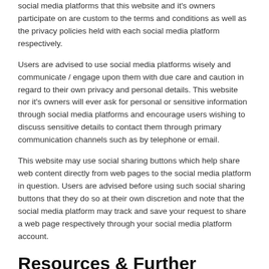social media platforms that this website and it's owners participate on are custom to the terms and conditions as well as the privacy policies held with each social media platform respectively.
Users are advised to use social media platforms wisely and communicate / engage upon them with due care and caution in regard to their own privacy and personal details. This website nor it's owners will ever ask for personal or sensitive information through social media platforms and encourage users wishing to discuss sensitive details to contact them through primary communication channels such as by telephone or email.
This website may use social sharing buttons which help share web content directly from web pages to the social media platform in question. Users are advised before using such social sharing buttons that they do so at their own discretion and note that the social media platform may track and save your request to share a web page respectively through your social media platform account.
Resources & Further Information
Data Protection Act 1998